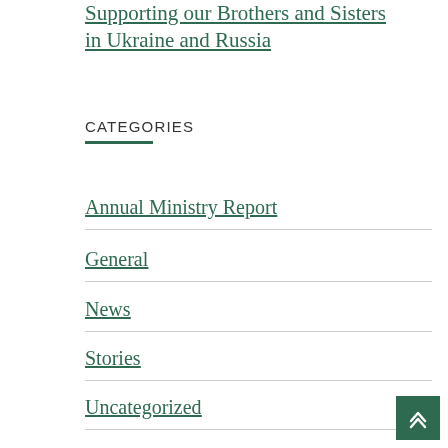Supporting our Brothers and Sisters in Ukraine and Russia
CATEGORIES
Annual Ministry Report
General
News
Stories
Uncategorized